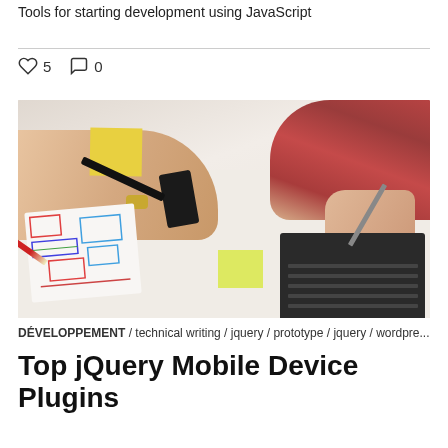Tools for starting development using JavaScript
♡ 5   ○ 0
[Figure (photo): Two people working at a desk with a laptop, phone, sticky notes, and wireframe sketches drawn on paper. One person wears a plaid shirt and the other has a gold bracelet. A red pencil is visible.]
DÉVELOPPEMENT / technical writing / jquery / prototype / jquery / wordpre...
Top jQuery Mobile Device Plugins